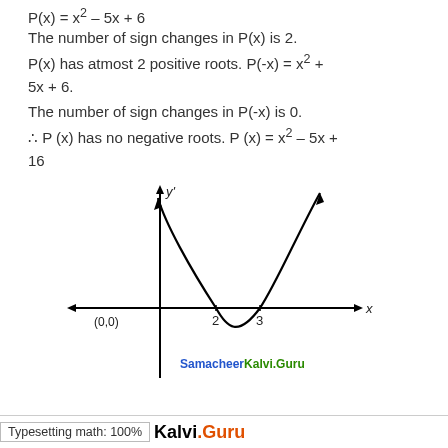P(x) = x² – 5x + 6
The number of sign changes in P(x) is 2.
P(x) has atmost 2 positive roots. P(-x) = x² + 5x + 6.
The number of sign changes in P(-x) is 0.
∴ P (x) has no negative roots. P (x) = x² – 5x + 16
[Figure (continuous-plot): Graph of parabola P(x) = x² – 5x + 6 with x-y axes. The curve touches x-axis at x=2 and x=3, vertex below x-axis, arrows on curve ends pointing upward. Axes labeled with y' up, x right, origin labeled (0,0). Watermark: SamacheerKalvi.Guru in blue/green text.]
Typesetting math: 100%  Kalvi.Guru